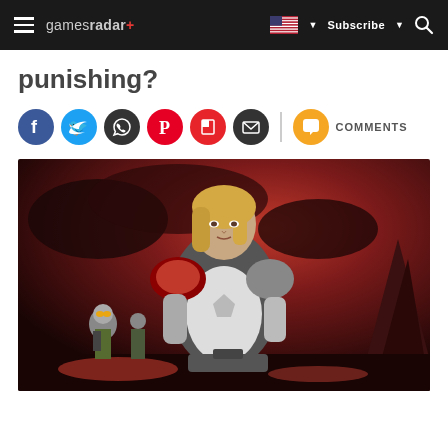gamesradar+ | Subscribe | Search
punishing?
[Figure (infographic): Social sharing icons: Facebook (blue), Twitter (light blue), WhatsApp (dark), Pinterest (red), Flipboard (red), Email (dark), Comments button (orange)]
[Figure (photo): Screenshot from a video game showing a female character in futuristic sci-fi armor with blonde hair, holding a weapon, standing in a volcanic/apocalyptic environment with red skies and lava. Two armored soldiers visible in the background on the left.]